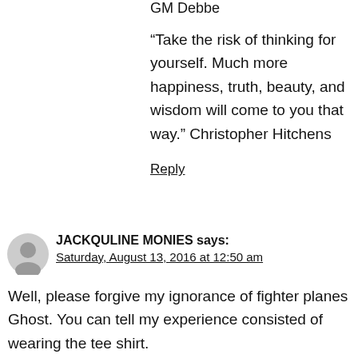GM Debbe
“Take the risk of thinking for yourself. Much more happiness, truth, beauty, and wisdom will come to you that way.” Christopher Hitchens
Reply
JACKQULINE MONIES says: Saturday, August 13, 2016 at 12:50 am
Well, please forgive my ignorance of fighter planes Ghost. You can tell my experience consisted of wearing the tee shirt.
Dickens is defending his territory. Lil Ghost